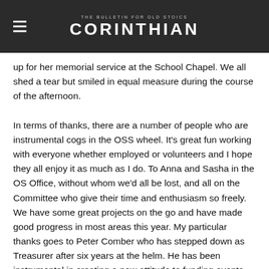CORINTHIAN — THE BULLETIN FOR OLD STOICS
up for her memorial service at the School Chapel. We all shed a tear but smiled in equal measure during the course of the afternoon.
In terms of thanks, there are a number of people who are instrumental cogs in the OSS wheel. It's great fun working with everyone whether employed or volunteers and I hope they all enjoy it as much as I do. To Anna and Sasha in the OS Office, without whom we'd all be lost, and all on the Committee who give their time and enthusiasm so freely. We have some great projects on the go and have made good progress in most areas this year. My particular thanks goes to Peter Comber who has stepped down as Treasurer after six years at the helm. He has been instrumental in creating a new attitude to funding events and, despite some ongoing challenges, leaves the Society in excellent shape financially. I welcome Nigel Wright (Chatham 78) to the Committee in his place who brings with him a wealth of financial experience from the Charity sector. I must also thank